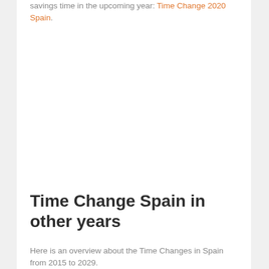savings time in the upcoming year: Time Change 2020 Spain.
Time Change Spain in other years
Here is an overview about the Time Changes in Spain from 2015 to 2029.